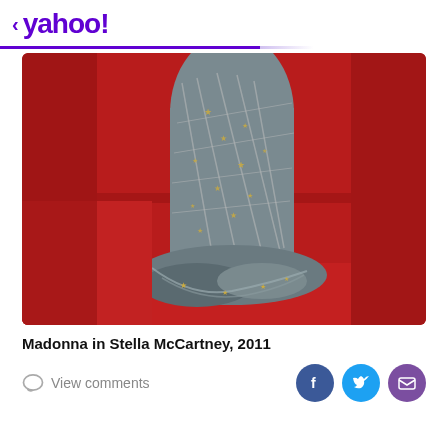< yahoo!
[Figure (photo): Close-up photo of a leg wearing a grey/silver Stella McCartney outfit with star-patterned mesh overlay, standing on a red carpet. The garment pools at the foot in a puddle of fabric with metallic star embellishments.]
Madonna in Stella McCartney, 2011
View comments